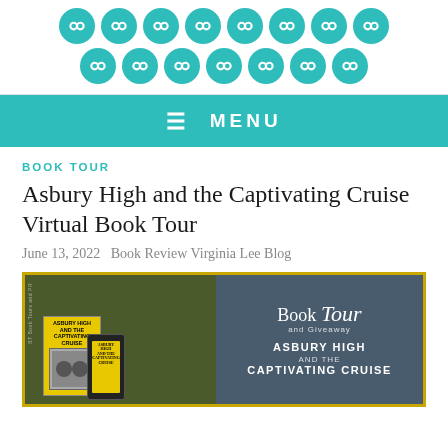[Figure (logo): Teal circular chain-link icon buttons arranged in two rows forming a logo/header decoration]
MENU
BOOK TOUR
Asbury High and the Captivating Cruise Virtual Book Tour
June 13, 2022   Book Review Virginia Lee Blog
[Figure (illustration): Book Tour and Giveaway promotional image for Asbury High and the Captivating Cruise, showing book covers on tablet and phone against a cruise ship background]